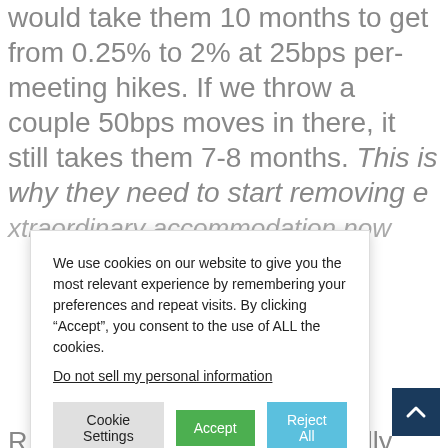would take them 10 months to get from 0.25% to 2% at 25bps per-meeting hikes. If we throw a couple 50bps moves in there, it still takes them 7-8 months. This is why they need to start removing e[xtraordinary accommodation now]...
R[ather than being]... 't really about i[nflation]... ool the Fed u[...]. As such, we c[onsider]... y liquidity m[...] ds rate well b[elow]... at with the e[...] nds rate is e[...] even if the Taylor Rule suggested rate is zero, the Fed would need to slow the money growth from its current pace considerably.
We use cookies on our website to give you the most relevant experience by remembering your preferences and repeat visits. By clicking “Accept”, you consent to the use of ALL the cookies.
Do not sell my personal information
Cookie Settings | Accept | Reject All